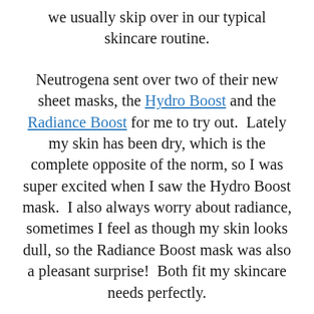we usually skip over in our typical skincare routine.
Neutrogena sent over two of their new sheet masks, the Hydro Boost and the Radiance Boost for me to try out.  Lately my skin has been dry, which is the complete opposite of the norm, so I was super excited when I saw the Hydro Boost mask.  I also always worry about radiance, sometimes I feel as though my skin looks dull, so the Radiance Boost mask was also a pleasant surprise!  Both fit my skincare needs perfectly.
I tried the Hydro Boost mask first, I love that it comes in two pieces, most sheet masks only